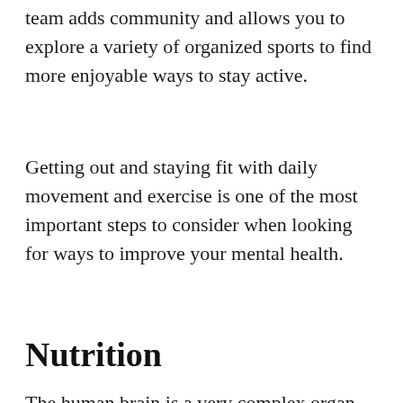team adds community and allows you to explore a variety of organized sports to find more enjoyable ways to stay active.
Getting out and staying fit with daily movement and exercise is one of the most important steps to consider when looking for ways to improve your mental health.
Nutrition
The human brain is a very complex organ and it needs proper nutrition to function correctly. Consuming a colorful array of nutrient-rich foods is an important part of maintaining your